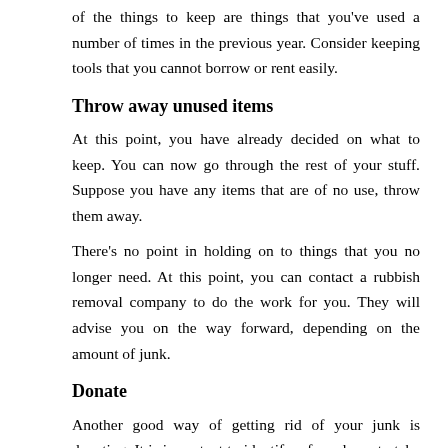of the things to keep are things that you've used a number of times in the previous year. Consider keeping tools that you cannot borrow or rent easily.
Throw away unused items
At this point, you have already decided on what to keep. You can now go through the rest of your stuff. Suppose you have any items that are of no use, throw them away.
There's no point in holding on to things that you no longer need. At this point, you can contact a rubbish removal company to do the work for you. They will advise you on the way forward, depending on the amount of junk.
Donate
Another good way of getting rid of your junk is donating. It is important to identify a few places to take your donations. Your local church or a nearby charity organization could be a good start. It is essential to notify them of your plans in